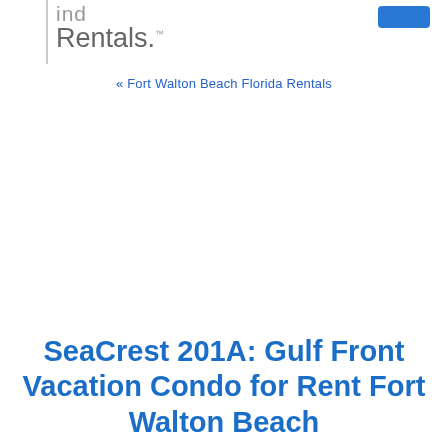ind Rentals.
« Fort Walton Beach Florida Rentals
SeaCrest 201A: Gulf Front Vacation Condo for Rent Fort Walton Beach